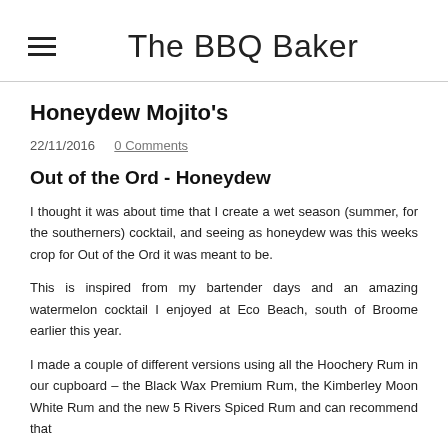The BBQ Baker
Honeydew Mojito's
22/11/2016   0 Comments
Out of the Ord - Honeydew
I thought it was about time that I create a wet season (summer, for the southerners) cocktail, and seeing as honeydew was this weeks crop for Out of the Ord it was meant to be.
This is inspired from my bartender days and an amazing watermelon cocktail I enjoyed at Eco Beach, south of Broome earlier this year.
I made a couple of different versions using all the Hoochery Rum in our cupboard - the Black Wax Premium Rum, the Kimberley Moon White Rum and the new 5 Rivers Spiced Rum and can recommend that